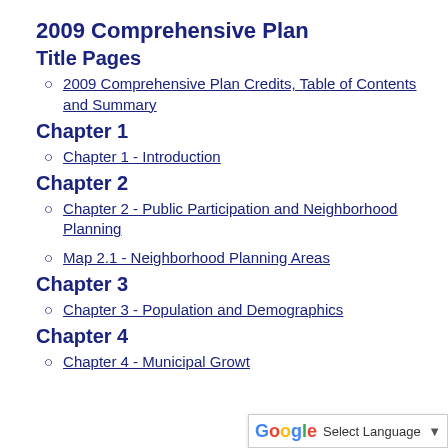2009 Comprehensive Plan
Title Pages
2009 Comprehensive Plan Credits, Table of Contents and Summary
Chapter 1
Chapter 1 - Introduction
Chapter 2
Chapter 2 - Public Participation and Neighborhood Planning
Map 2.1 - Neighborhood Planning Areas
Chapter 3
Chapter 3 - Population and Demographics
Chapter 4
Chapter 4 - Municipal Growt…